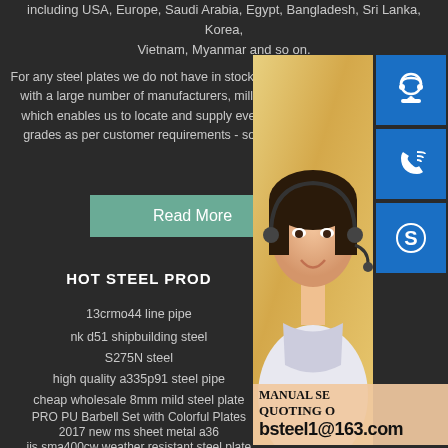including USA, Europe, Saudi Arabia, Egypt, Bangladesh, Sri Lanka, Korea, Vietnam, Myanmar and so on.
For any steel plates we do not have in stock, we have established cooperation with a large number of manufacturers, mill depots and trading companies, which enables us to locate and supply even the most obscure steel grades as per customer requirements - so cal...
[Figure (other): Read More button - teal/green colored button]
HOT STEEL PROD...
13crmo44 line pipe...
nk d51 shipbuilding steel...
S275N steel
high quality a335p91 steel pipe
cheap wholesale 8mm mild steel plate
PRO PU Barbell Set with Colorful Plates
2017 new ms sheet metal a36
jis sma400cw weather resistant steel plate
[Figure (photo): Customer service representative - woman with headset, with blue icons for chat, phone, skype, and contact overlay showing MANUAL SERVICE, QUOTING O..., bsteel1@163.com]